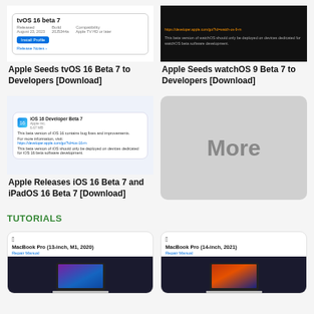[Figure (screenshot): tvOS 16 beta 7 install profile screenshot]
[Figure (screenshot): watchOS 9 Beta 7 dark screen screenshot]
Apple Seeds tvOS 16 Beta 7 to Developers [Download]
Apple Seeds watchOS 9 Beta 7 to Developers [Download]
[Figure (screenshot): iOS 16 Developer Beta 7 update details screenshot]
[Figure (other): More button placeholder]
Apple Releases iOS 16 Beta 7 and iPadOS 16 Beta 7 [Download]
TUTORIALS
[Figure (screenshot): MacBook Pro (13-inch, M1, 2020) Repair Manual]
[Figure (screenshot): MacBook Pro (14-inch, 2021) Repair Manual]